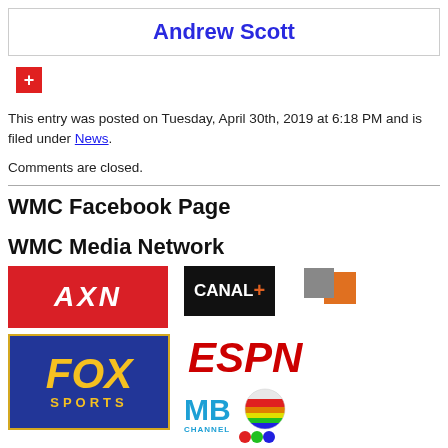Andrew Scott
[Figure (logo): Red plus button icon]
This entry was posted on Tuesday, April 30th, 2019 at 6:18 PM and is filed under News.
Comments are closed.
WMC Facebook Page
WMC Media Network
[Figure (logo): AXN logo - red background with white text]
[Figure (logo): CANAL+ logo - black background with orange square]
[Figure (logo): ESPN logo]
[Figure (logo): FOX Sports logo - blue background with yellow text]
[Figure (logo): MB Channel logo with colorful balls]